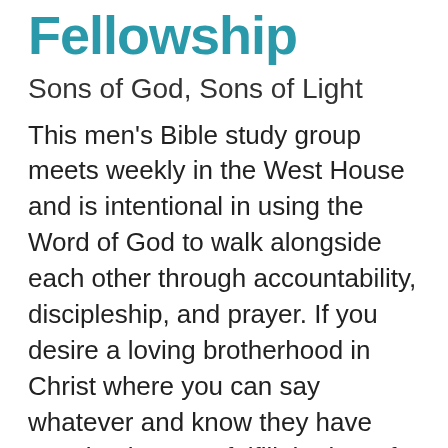Fellowship
Sons of God, Sons of Light
This men's Bible study group meets weekly in the West House and is intentional in using the Word of God to walk alongside each other through accountability, discipleship, and prayer. If you desire a loving brotherhood in Christ where you can say whatever and know they have your back, come fulfill the law of Christ with this group of men who are passionate about living